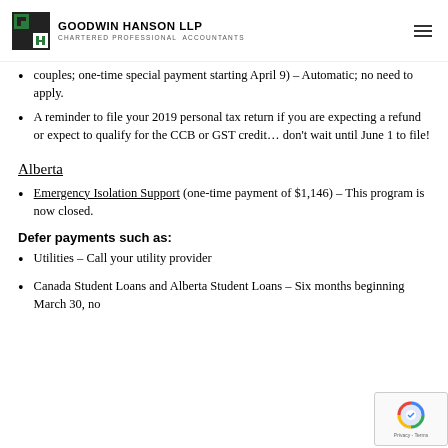GOODWIN HANSON LLP CHARTERED PROFESSIONAL ACCOUNTANTS
couples; one-time special payment starting April 9) – Automatic; no need to apply.
A reminder to file your 2019 personal tax return if you are expecting a refund or expect to qualify for the CCB or GST credit... don't wait until June 1 to file!
Alberta
Emergency Isolation Support (one-time payment of $1,146) – This program is now closed.
Defer payments such as:
Utilities – Call your utility provider
Canada Student Loans and Alberta Student Loans – Six months beginning March 30, no